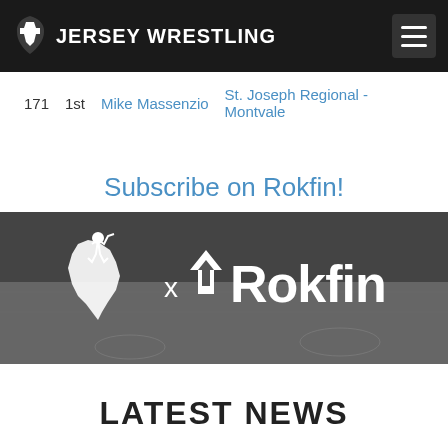JERSEY WRESTLING
| 171 | 1st | Mike Massenzio | St. Joseph Regional - Montvale |
Subscribe on Rokfin!
[Figure (logo): Jersey Wrestling x Rokfin banner with wrestling arena background in grayscale, showing Jersey Wrestling logo (NJ state silhouette with wrestler) and Rokfin logo with 'x' between them]
LATEST NEWS